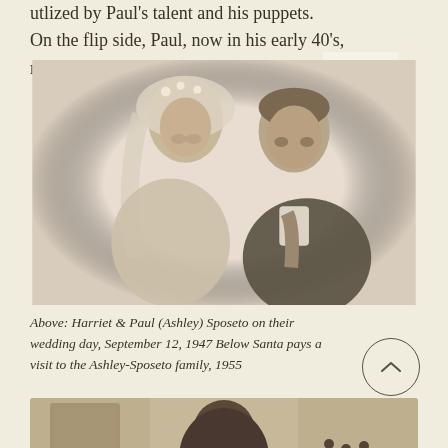utlized by Paul's talent and his puppets. On the flip side, Paul, now in his early 40's, recognized
[Figure (photo): Black and white wedding portrait of Harriet and Paul (Ashley) Sposeto, 1947. The bride wears a veil with flowers and the groom is in formal attire with a tie.]
Above: Harriet & Paul (Ashley) Sposeto on their wedding day, September 12, 1947 Below Santa pays a visit to the Ashley-Sposeto family, 1955
[Figure (photo): Black and white photograph, partial view, showing a person from behind or side, 1955 family Santa visit photo.]